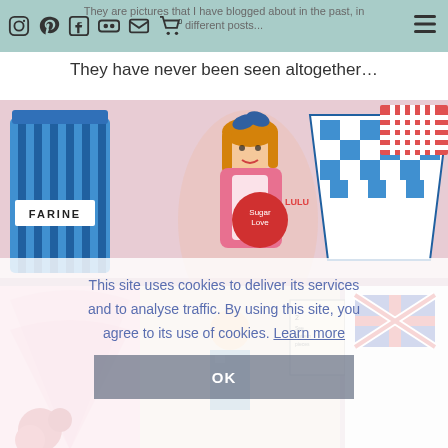They are pictures that I have blogged about in the past, in different posts...
They have never been seen altogether…
[Figure (photo): Photo of vintage kitchen items on a pink shelf: a blue and white striped FARINE canister on the left, a vintage paper doll cutout of a girl cooking in the center, and a blue checkered enamel bowl with red gingham fabric on the right. Below is a collage of vintage fabric patterns, sewing patterns, and Union Jack imagery.]
This site uses cookies to deliver its services and to analyse traffic. By using this site, you agree to its use of cookies. Learn more
OK